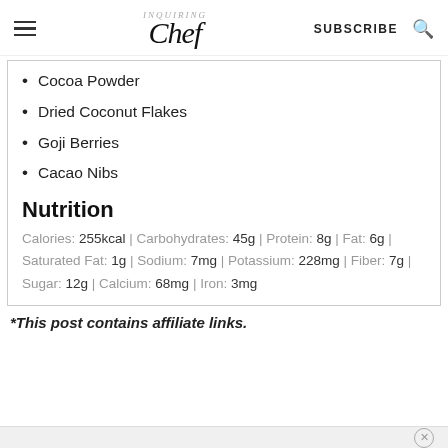Inquiring Chef | SUBSCRIBE
Cocoa Powder
Dried Coconut Flakes
Goji Berries
Cacao Nibs
Nutrition
Calories: 255kcal | Carbohydrates: 45g | Protein: 8g | Fat: 6g | Saturated Fat: 1g | Sodium: 7mg | Potassium: 228mg | Fiber: 7g | Sugar: 12g | Calcium: 68mg | Iron: 3mg
*This post contains affiliate links.